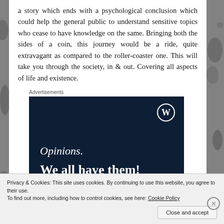a story which ends with a psychological conclusion which could help the general public to understand sensitive topics who cease to have knowledge on the same. Bringing both the sides of a coin, this journey would be a ride, quite extravagant as compared to the roller-coaster one. This will take you through the society, in & out. Covering all aspects of life and existence.
Advertisements
[Figure (illustration): Advertisement with dark navy background, WordPress logo in top right corner, text reading 'Opinions. We all have them!' in white serif font.]
Privacy & Cookies: This site uses cookies. By continuing to use this website, you agree to their use.
To find out more, including how to control cookies, see here: Cookie Policy
Close and accept